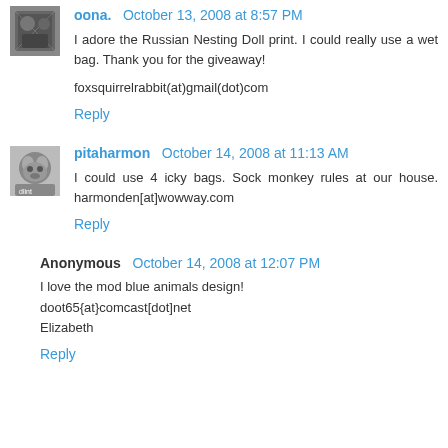oona. October 13, 2008 at 8:57 PM
I adore the Russian Nesting Doll print. I could really use a wet bag. Thank you for the giveaway!
foxsquirrelrabbit(at)gmail(dot)com
Reply
pitaharmon October 14, 2008 at 11:13 AM
I could use 4 icky bags. Sock monkey rules at our house. harmonden[at]wowway.com
Reply
Anonymous October 14, 2008 at 12:07 PM
I love the mod blue animals design! doot65{at}comcast[dot]net Elizabeth
Reply